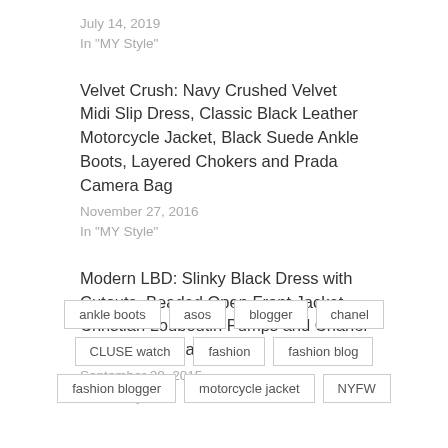July 14, 2019
In "MY Style"
Velvet Crush: Navy Crushed Velvet Midi Slip Dress, Classic Black Leather Motorcycle Jacket, Black Suede Ankle Boots, Layered Chokers and Prada Camera Bag
November 27, 2016
In "MY Style"
Modern LBD: Slinky Black Dress with Cutouts, Beaded Open Front Jacket, Christian Louboutin Pumps and Chanel Classic Flap Bag
September 20, 2015
In "MY Style"
ankle boots
asos
blogger
chanel
CLUSE watch
fashion
fashion blog
fashion blogger
motorcycle jacket
NYFW